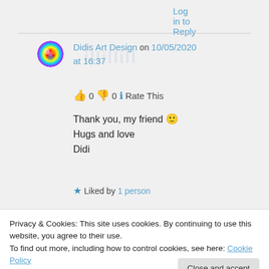Log in to Reply
Didis Art Design on 10/05/2020 at 16:37
👍 0 👎 0 ℹ Rate This
Thank you, my friend 🙂
Hugs and love
Didi
★ Liked by 1 person
Privacy & Cookies: This site uses cookies. By continuing to use this website, you agree to their use.
To find out more, including how to control cookies, see here: Cookie Policy
Close and accept
👍 0 👎 0 ℹ Rate This